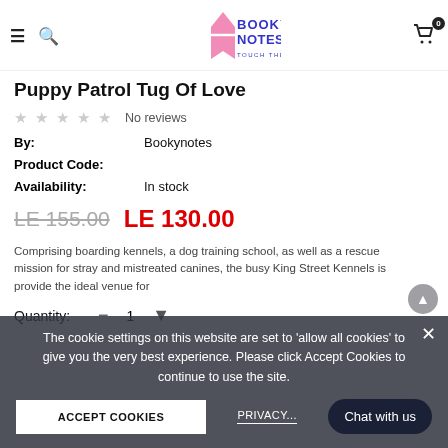Booky Notes — Touch The Happiness
Puppy Patrol Tug Of Love
No reviews
By: Bookynotes
Product Code:
Availability: In stock
LE 155.00  LE 130.00
Comprising boarding kennels, a dog training school, as well as a rescue mission for stray and mistreated canines, the busy King Street Kennels is provide the ideal venue for
Quantity: 1
The cookie settings on this website are set to 'allow all cookies' to give you the very best experience. Please click Accept Cookies to continue to use the site.
ACCEPT COOKIES
PRIVACY...
Chat with us